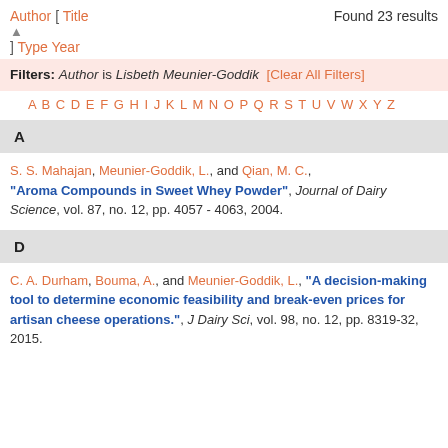Author [ Title    Found 23 results
] Type Year
Filters: Author is Lisbeth Meunier-Goddik [Clear All Filters]
A B C D E F G H I J K L M N O P Q R S T U V W X Y Z
A
S. S. Mahajan, Meunier-Goddik, L., and Qian, M. C., "Aroma Compounds in Sweet Whey Powder", Journal of Dairy Science, vol. 87, no. 12, pp. 4057 - 4063, 2004.
D
C. A. Durham, Bouma, A., and Meunier-Goddik, L., "A decision-making tool to determine economic feasibility and break-even prices for artisan cheese operations.", J Dairy Sci, vol. 98, no. 12, pp. 8319-32, 2015.